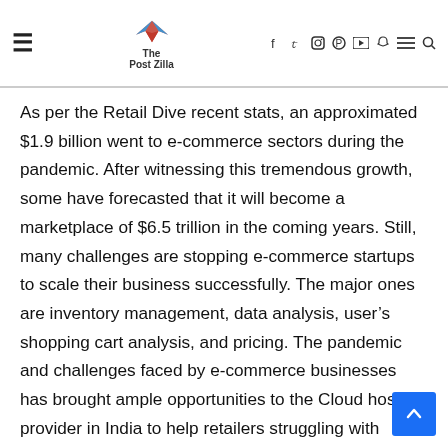The Post Zilla — navigation header with hamburger menu, logo, social icons
As per the Retail Dive recent stats, an approximated $1.9 billion went to e-commerce sectors during the pandemic. After witnessing this tremendous growth, some have forecasted that it will become a marketplace of $6.5 trillion in the coming years. Still, many challenges are stopping e-commerce startups to scale their business successfully. The major ones are inventory management, data analysis, user's shopping cart analysis, and pricing. The pandemic and challenges faced by e-commerce businesses has brought ample opportunities to the Cloud hosting provider in India to help retailers struggling with complex SaaS solutions.
Are you among those retailers who have recently shifted to e-commerce? Do you want a cloud server hosting in